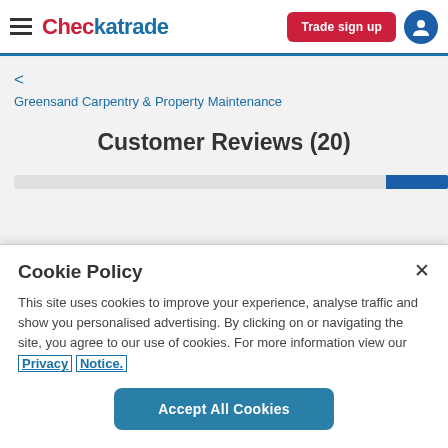Checkatrade — Trade sign up
< Greensand Carpentry & Property Maintenance
Customer Reviews (20)
Cookie Policy
This site uses cookies to improve your experience, analyse traffic and show you personalised advertising. By clicking on or navigating the site, you agree to our use of cookies. For more information view our Privacy Notice.
Accept All Cookies